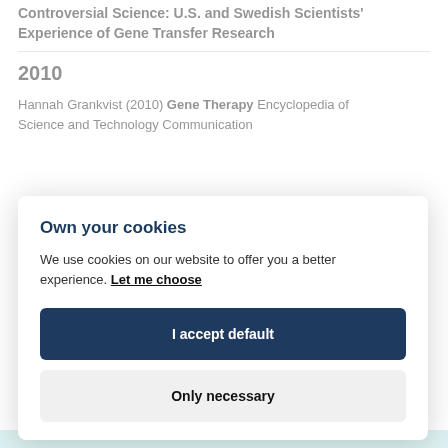Controversial Science: U.S. and Swedish Scientists' Experience of Gene Transfer Research
2010
Hannah Grankvist (2010) Gene Therapy Encyclopedia of Science and Technology Communication
Own your cookies

We use cookies on our website to offer you a better experience. Let me choose

I accept default

Only necessary